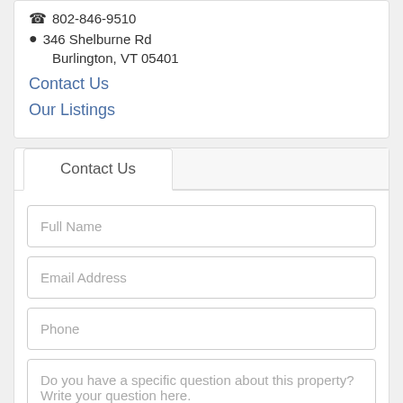802-846-9510
346 Shelburne Rd Burlington, VT 05401
Contact Us
Our Listings
Contact Us
Full Name
Email Address
Phone
Do you have a specific question about this property? Write your question here.